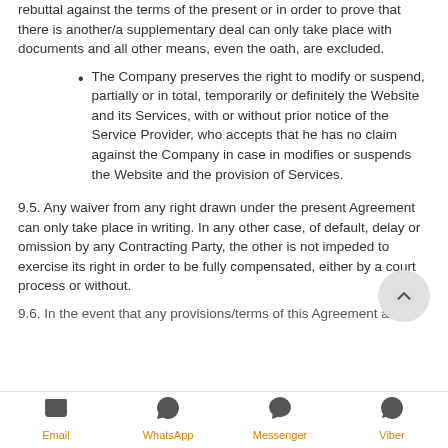rebuttal against the terms of the present or in order to prove that there is another/a supplementary deal can only take place with documents and all other means, even the oath, are excluded.
The Company preserves the right to modify or suspend, partially or in total, temporarily or definitely the Website and its Services, with or without prior notice of the Service Provider, who accepts that he has no claim against the Company in case in modifies or suspends the Website and the provision of Services.
9.5. Any waiver from any right drawn under the present Agreement can only take place in writing. In any other case, of default, delay or omission by any Contracting Party, the other is not impeded to exercise its right in order to be fully compensated, either by a court process or without.
9.6. In the event that any provisions/terms of this Agreement are
Email  WhatsApp  Messenger  Viber